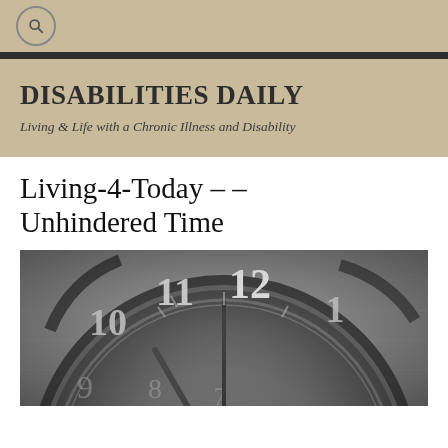Search icon / navigation bar
DISABILITIES DAILY
Living & Life with a Chronic Illness and Disability
Living-4-Today – – Unhindered Time
[Figure (photo): Black and white close-up photograph of a clock face showing numbers 10, 11, 12, 1 prominently]